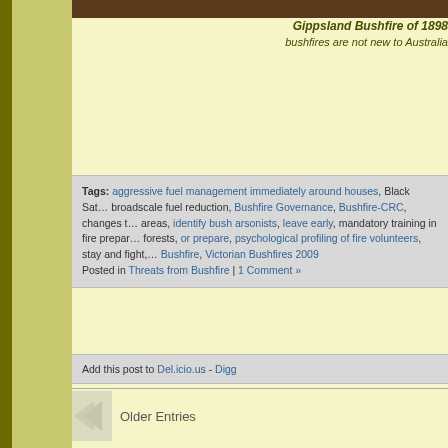[Figure (photo): Historical photo of Gippsland Bushfire of 1898 cropped at top]
Gippsland Bushfire of 1898 - bushfires are not new to Australia
Tags: aggressive fuel management immediately around houses, Black Saturday, broadscale fuel reduction, Bushfire Governance, Bushfire-CRC, changes to areas, identify bush arsonists, leave early, mandatory training in fire preparation, forests, or prepare, psychological profiling of fire volunteers, stay and fight, Bushfire, Victorian Bushfires 2009
Posted in Threats from Bushfire | 1 Comment »
Add this post to Del.icio.us - Digg